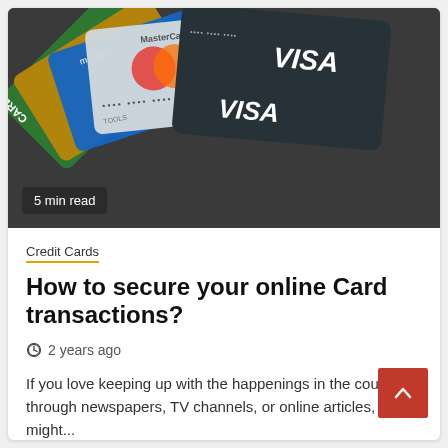[Figure (photo): A fan of multiple credit cards spread out — Visa, MasterCard in various colors (green, gold, blue, grey, dark charcoal) on a dark surface. Visa logo prominently visible on the front dark card.]
5 min read
Credit Cards
How to secure your online Card transactions?
2 years ago
If you love keeping up with the happenings in the country through newspapers, TV channels, or online articles, you might...